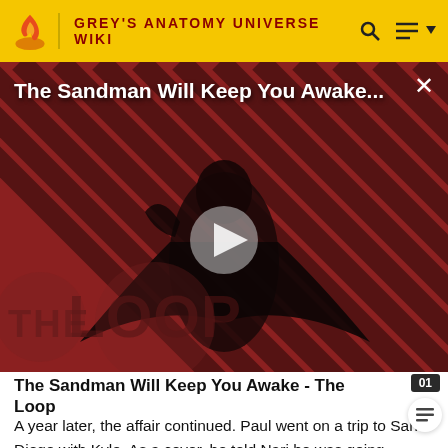GREY'S ANATOMY UNIVERSE WIKI
[Figure (screenshot): Video thumbnail for 'The Sandman Will Keep You Awake...' showing a dark-cloaked figure against a red diagonal-striped background, with 'THE LOOP' text overlay and a play button in the center.]
The Sandman Will Keep You Awake - The Loop
A year later, the affair continued. Paul went on a trip to San Diego with Kyle. As a cover, he told Nari he was going because of a conference ("100% a Matthew").